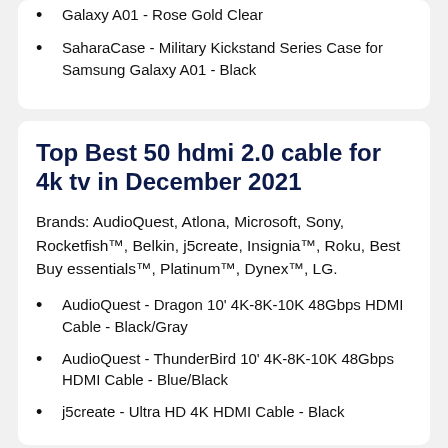Galaxy A01 - Rose Gold Clear
SaharaCase - Military Kickstand Series Case for Samsung Galaxy A01 - Black
Top Best 50 hdmi 2.0 cable for 4k tv in December 2021
Brands: AudioQuest, Atlona, Microsoft, Sony, Rocketfish™, Belkin, j5create, Insignia™, Roku, Best Buy essentials™, Platinum™, Dynex™, LG.
AudioQuest - Dragon 10' 4K-8K-10K 48Gbps HDMI Cable - Black/Gray
AudioQuest - ThunderBird 10' 4K-8K-10K 48Gbps HDMI Cable - Blue/Black
j5create - Ultra HD 4K HDMI Cable - Black